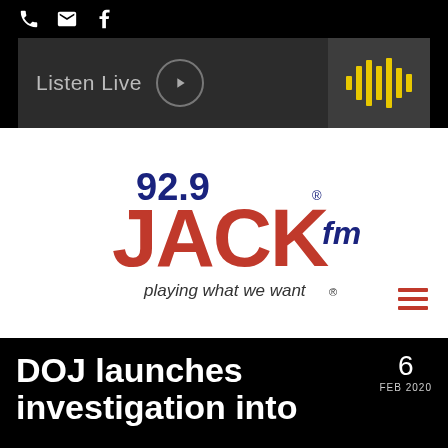[Figure (screenshot): Top navigation bar with phone, email, and Facebook icons on black background]
[Figure (screenshot): Listen Live player bar with play button and waveform audio visualizer on dark gray background]
[Figure (logo): 92.9 JACK fm logo - playing what we want, with bold red JACK lettering and blue 92.9 and fm text on white background]
DOJ launches investigation into
6 FEB 2020